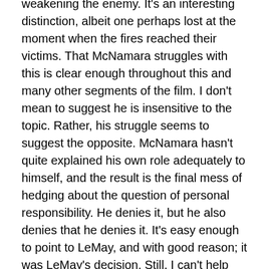weakening the enemy. It's an interesting distinction, albeit one perhaps lost at the moment when the fires reached their victims. That McNamara struggles with this is clear enough throughout this and many other segments of the film. I don't mean to suggest he is insensitive to the topic. Rather, his struggle seems to suggest the opposite. McNamara hasn't quite explained his own role adequately to himself, and the result is the final mess of hedging about the question of personal responsibility. He denies it, but he also denies that he denies it. It's easy enough to point to LeMay, and with good reason; it was LeMay's decision. Still, I can't help thinking that answer wasn't even sufficient for McNamara.
***
Morris: The choice of incendiary bombs, where did that come from?